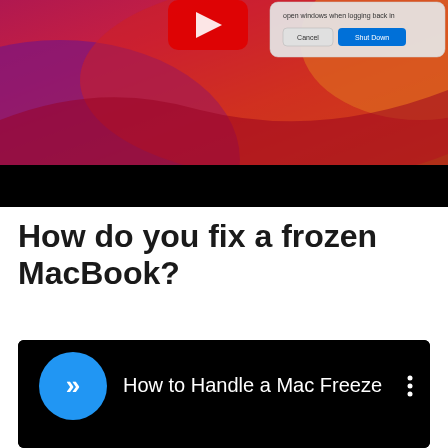[Figure (screenshot): macOS Big Sur desktop with colorful red/purple/orange gradient wallpaper, showing a shutdown dialog box with 'Cancel' and 'Shut Down' buttons, and a red YouTube-style play button icon partially visible at top center. Bottom portion of image is black.]
How do you fix a frozen MacBook?
[Figure (screenshot): Dark/black video player UI showing a circular blue icon with double chevron arrows (>>) on the left, and text 'How to Handle a Mac Freeze' in white, with a three-dot menu icon on the right. Black background below.]